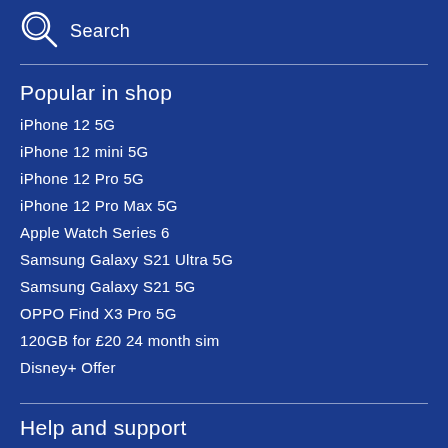[Figure (other): Search icon - circular magnifying glass icon in white outline on dark blue background]
Search
Popular in shop
iPhone 12 5G
iPhone 12 mini 5G
iPhone 12 Pro 5G
iPhone 12 Pro Max 5G
Apple Watch Series 6
Samsung Galaxy S21 Ultra 5G
Samsung Galaxy S21 5G
OPPO Find X3 Pro 5G
120GB for £20 24 month sim
Disney+ Offer
Help and support